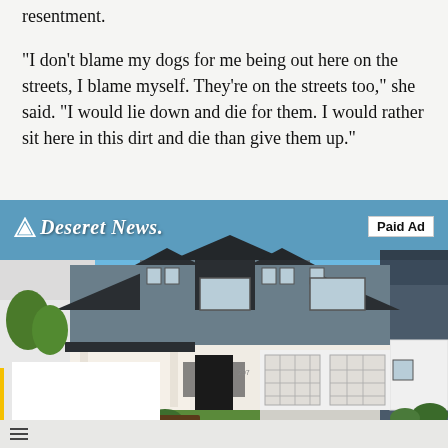resentment.
"I don't blame my dogs for me being out here on the streets, I blame myself. They're on the streets too," she said. "I would lie down and die for them. I would rather sit here in this dirt and die than give them up."
[Figure (photo): Deseret News paid advertisement showing a modern two-story home with blue-gray siding, white stone accents, attached garage, front porch with chairs, green lawn and landscaping, under a blue sky. The Deseret News logo and 'Paid Ad' badge overlay the top of the image.]